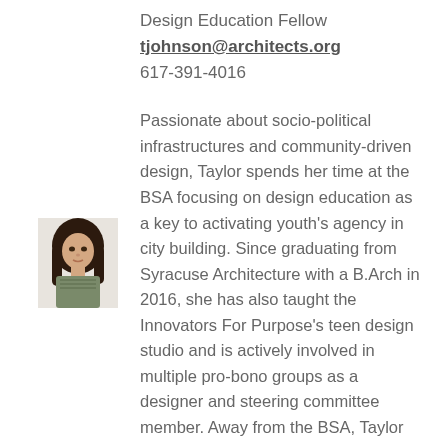Design Education Fellow
tjohnson@architects.org
617-391-4016
[Figure (photo): Headshot of a young woman with long dark hair wearing a patterned top]
Passionate about socio-political infrastructures and community-driven design, Taylor spends her time at the BSA focusing on design education as a key to activating youth's agency in city building. Since graduating from Syracuse Architecture with a B.Arch in 2016, she has also taught the Innovators For Purpose's teen design studio and is actively involved in multiple pro-bono groups as a designer and steering committee member. Away from the BSA, Taylor